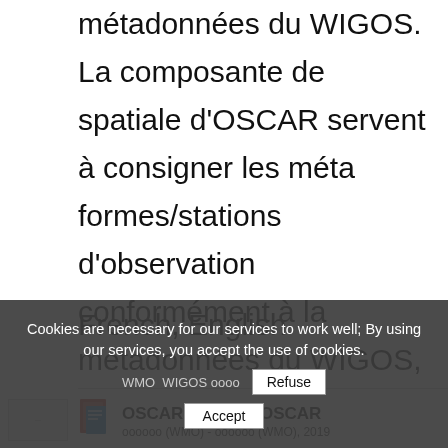métadonnées du WIGOS. La composante de la spatiale d'OSCAR servent à consigner les métadonnées formes/stations d'observation conformément à la métadonnées du WIGOS, décrite dans le Manuel des systèmes d'observation de l'OMM (OMM-N° intitulée No ...
French, English
OSCAR ＩＩ, 01. OSCAR ооооооо (WMO) - ооооооо (WMO), 2019 WMO WIGOS оооо оооооооооWMO ооооооооо WM
Cookies are necessary for our services to work well; By using our services, you accept the use of cookies.